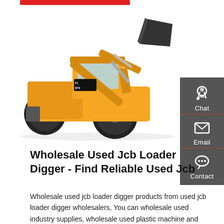[Figure (photo): Yellow Lovol wheel loader/front-end loader with raised bucket arm on white background. Machine has text 'FL 876' on cab and 'LOVOL' on arm.]
[Figure (infographic): Gray sidebar panel with three contact options: Chat (headset icon), Email (envelope icon), Contact (speech bubble with dots icon). Each section separated by a red horizontal line.]
Wholesale Used Jcb Loader Digger - Find Reliable Used Jcb
Wholesale used jcb loader digger products from used jcb loader digger wholesalers, You can wholesale used industry supplies, wholesale used plastic machine and more on Made